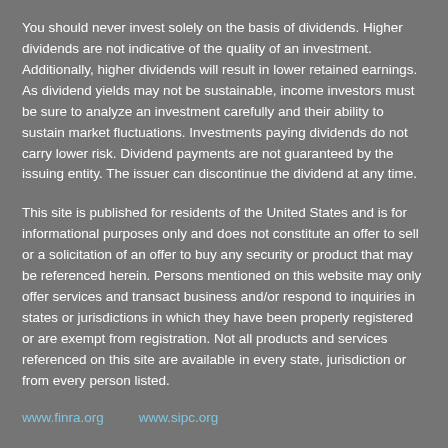You should never invest solely on the basis of dividends. Higher dividends are not indicative of the quality of an investment. Additionally, higher dividends will result in lower retained earnings. As dividend yields may not be sustainable, income investors must be sure to analyze an investment carefully and their ability to sustain market fluctuations. Investments paying dividends do not carry lower risk. Dividend payments are not guaranteed by the issuing entity. The issuer can discontinue the dividend at any time.
This site is published for residents of the United States and is for informational purposes only and does not constitute an offer to sell or a solicitation of an offer to buy any security or product that may be referenced herein. Persons mentioned on this website may only offer services and transact business and/or respond to inquiries in states or jurisdictions in which they have been properly registered or are exempt from registration. Not all products and services referenced on this site are available in every state, jurisdiction or from every person listed.
www.finra.org    www.sipc.org